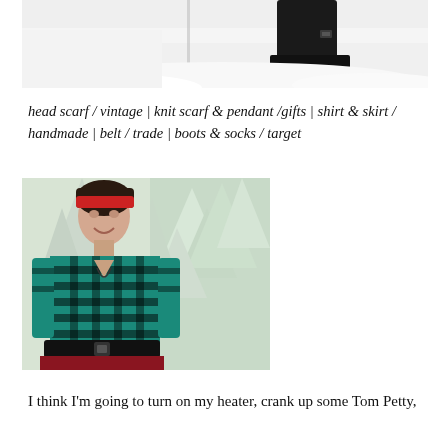[Figure (photo): Top portion of a snowy outdoor scene showing black boots/legs in deep white snow]
head scarf / vintage | knit scarf & pendant /gifts | shirt & skirt / handmade | belt / trade | boots & socks / target
[Figure (photo): A young woman smiling outdoors in the snow, wearing a red headband, teal and black plaid flannel shirt, wide black belt, and a red skirt, with snow-covered evergreen trees in the background]
I think I'm going to turn on my heater, crank up some Tom Petty,